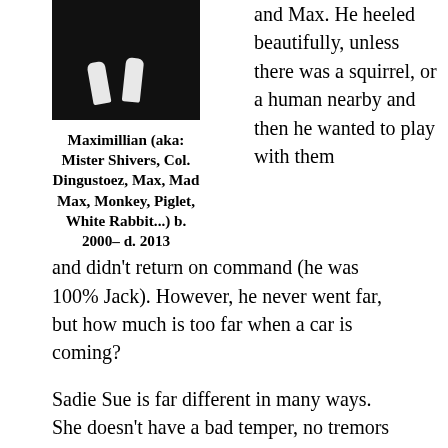[Figure (photo): Dark/black photo showing white paws of a dog against a dark background]
Maximillian (aka: Mister Shivers, Col. Dingustoez, Max, Mad Max, Monkey, Piglet, White Rabbit...) b. 2000– d. 2013
and Max. He heeled beautifully, unless there was a squirrel, or a human nearby and then he wanted to play with them and didn't return on command (he was 100% Jack). However, he never went far, but how much is too far when a car is coming?
Sadie Sue is far different in many ways. She doesn't have a bad temper, no tremors and training her takes a few easy minutes and